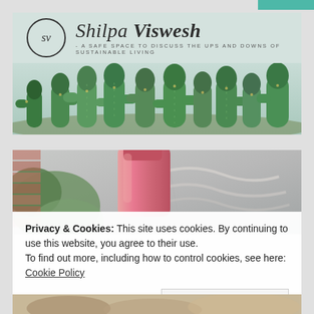[Figure (photo): Website header banner for Shilpa Viswesh blog featuring a logo circle with SV initials, the blog name 'Shilpa Viswesh' in italic serif font, tagline 'A SAFE SPACE TO DISCUSS THE UPS AND DOWNS OF SUSTAINABLE LIVING', and background photo of green cacti]
[Figure (photo): Partial photograph showing a pink/coral cylindrical object (likely a shampoo bar or similar product) against a concrete wall background]
Privacy & Cookies: This site uses cookies. By continuing to use this website, you agree to their use.
To find out more, including how to control cookies, see here: Cookie Policy
Close and accept
[Figure (photo): Bottom portion of another photograph, partially visible]